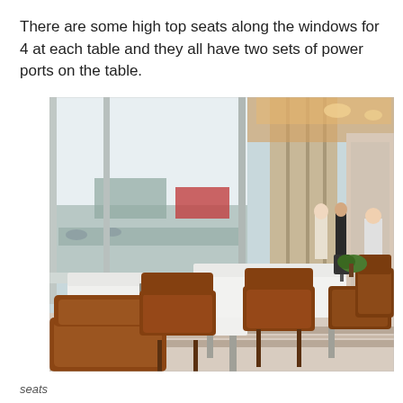There are some high top seats along the windows for 4 at each table and they all have two sets of power ports on the table.
[Figure (photo): Interior photo of an airport lounge showing high-top tables with white surfaces and brown leather chairs along floor-to-ceiling windows. Beyond the windows is an airport tarmac. The lounge has marble flooring, tall decorative columns, recessed warm lighting in the ceiling, and continues deep into the background where people are standing and walking. More brown leather seating is visible on the right side.]
seats